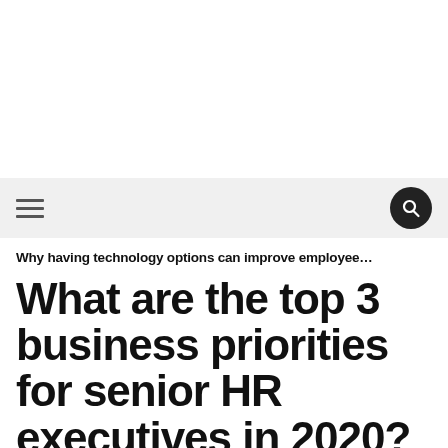Why having technology options can improve employee…
What are the top 3 business priorities for senior HR executives in 2020?
Written by Aaron McEwan on December 15, 2019